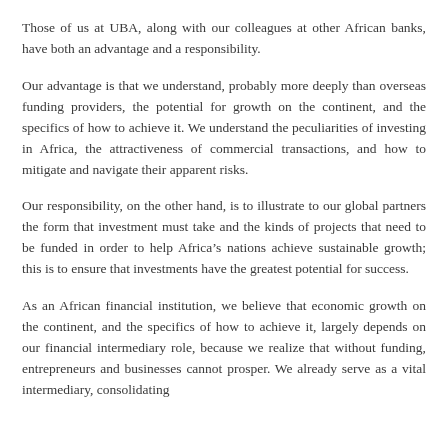Those of us at UBA, along with our colleagues at other African banks, have both an advantage and a responsibility.
Our advantage is that we understand, probably more deeply than overseas funding providers, the potential for growth on the continent, and the specifics of how to achieve it. We understand the peculiarities of investing in Africa, the attractiveness of commercial transactions, and how to mitigate and navigate their apparent risks.
Our responsibility, on the other hand, is to illustrate to our global partners the form that investment must take and the kinds of projects that need to be funded in order to help Africa’s nations achieve sustainable growth; this is to ensure that investments have the greatest potential for success.
As an African financial institution, we believe that economic growth on the continent, and the specifics of how to achieve it, largely depends on our financial intermediary role, because we realize that without funding, entrepreneurs and businesses cannot prosper. We already serve as a vital intermediary, consolidating